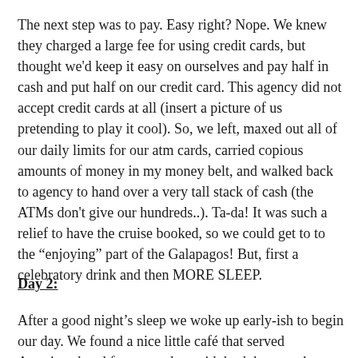The next step was to pay. Easy right? Nope. We knew they charged a large fee for using credit cards, but thought we'd keep it easy on ourselves and pay half in cash and put half on our credit card. This agency did not accept credit cards at all (insert a picture of us pretending to play it cool). So, we left, maxed out all of our daily limits for our atm cards, carried copious amounts of money in my money belt, and walked back to agency to hand over a very tall stack of cash (the ATMs don't give our hundreds..). Ta-da! It was such a relief to have the cruise booked, so we could get to to the “enjoying” part of the Galapagos! But, first a celebratory drink and then MORE SLEEP.
Day 2:
After a good night’s sleep we woke up early-ish to begin our day. We found a nice little café that served American breakfast; complete with hash browns, bacon, eggs, juice and coffee. Not